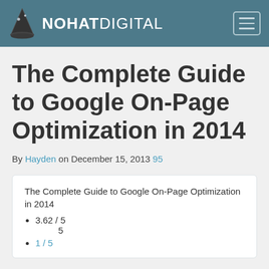NOHAT DIGITAL
The Complete Guide to Google On-Page Optimization in 2014
By Hayden on December 15, 2013 95
The Complete Guide to Google On-Page Optimization in 2014
3.62 / 5
5
1 / 5